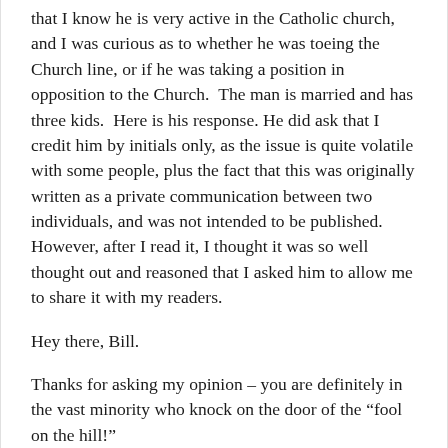that I know he is very active in the Catholic church, and I was curious as to whether he was toeing the Church line, or if he was taking a position in opposition to the Church.  The man is married and has three kids.  Here is his response.  He did ask that I credit him by initials only, as the issue is quite volatile with some people, plus the fact that this was originally written as a private communication between two individuals, and was not intended to be published.  However, after I read it, I thought it was so well thought out and reasoned that I asked him to allow me to share it with my readers.
Hey there, Bill.
Thanks for asking my opinion – you are definitely in the vast minority who knock on the door of the “fool on the hill!”